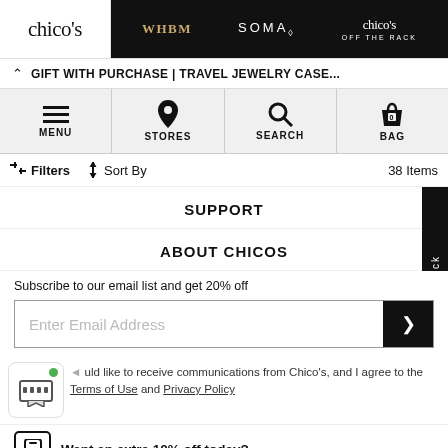chico's | WHBM | SOMA | chico's OFF THE RACK
GIFT WITH PURCHASE | TRAVEL JEWELRY CASE...
MENU | STORES | SEARCH | BAG
Filters  Sort By  38 Items
SUPPORT
ABOUT CHICOS
Subscribe to our email list and get 20% off
Enter Email Address
I would like to receive communications from Chico's, and I agree to the Terms of Use and Privacy Policy
Want an extra 10% off today?